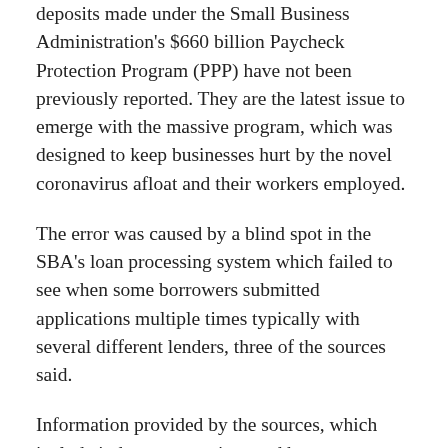deposits made under the Small Business Administration's $660 billion Paycheck Protection Program (PPP) have not been previously reported. They are the latest issue to emerge with the massive program, which was designed to keep businesses hurt by the novel coronavirus afloat and their workers employed.
The error was caused by a blind spot in the SBA's loan processing system which failed to see when some borrowers submitted applications multiple times typically with several different lenders, three of the sources said.
Information provided by the sources, which include industry executives and borrowers, as well as Reddit posts, suggest at least 1,020 duplicate deposits were issued. While that is a tiny fraction of funds disbursed under the huge program, it could amount to roughly $116 million dollars based on average loan sizes.
A spokesman for the SBA declined to comment, while a